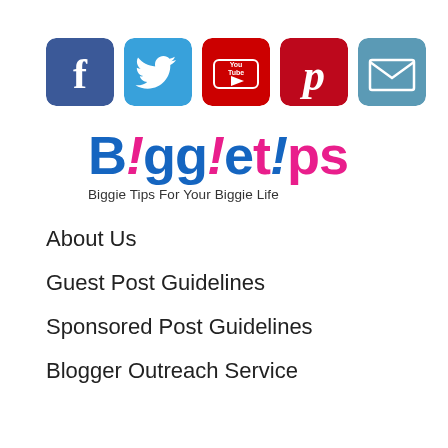[Figure (logo): Social media icons: Facebook (blue), Twitter (light blue), YouTube (red), Pinterest (red), Email (steel blue)]
[Figure (logo): BiggeTips logo - 'Biggie' in blue bold, 'tips' in pink bold, tagline: Biggie Tips For Your Biggie Life]
About Us
Guest Post Guidelines
Sponsored Post Guidelines
Blogger Outreach Service